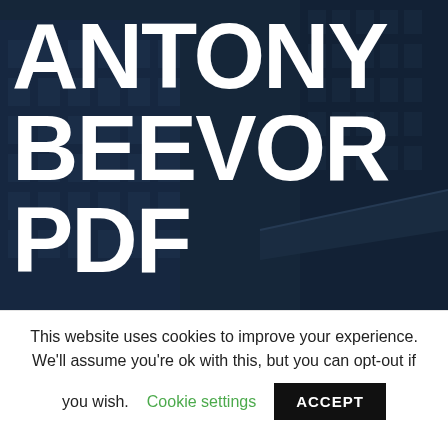[Figure (photo): Dark blue-tinted photo of city office buildings/skyscrapers viewed from below, with large white bold text overlay reading ANTONY BEEVOR PDF]
ANTONY BEEVOR PDF
This website uses cookies to improve your experience. We'll assume you're ok with this, but you can opt-out if you wish.
Cookie settings
ACCEPT